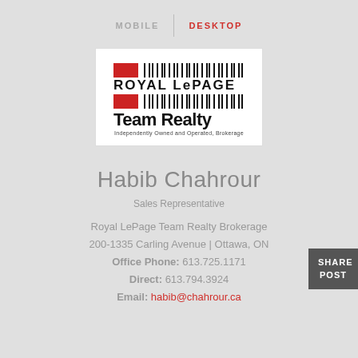MOBILE | DESKTOP
[Figure (logo): Royal LePage Team Realty logo with red bars, barcode pattern, bold text and tagline 'Independently Owned and Operated, Brokerage']
Habib Chahrour
Sales Representative
Royal LePage Team Realty Brokerage
200-1335 Carling Avenue | Ottawa, ON
Office Phone: 613.725.1171
Direct: 613.794.3924
Email: habib@chahrour.ca